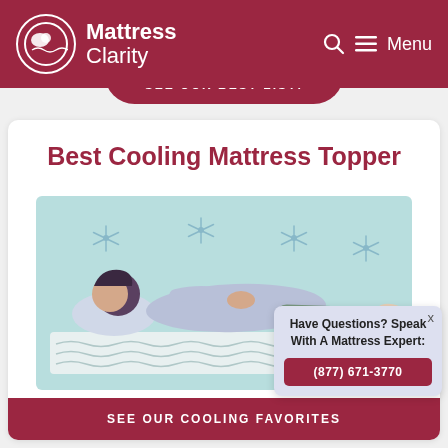Mattress Clarity
SEE OUR BEST LIST!
Best Cooling Mattress Topper
[Figure (illustration): Illustration of a person lying on their side on a mattress topper with a cooling pattern, with snowflake icons on a light blue background suggesting cooling effect.]
SEE OUR COOLING FAVORITES
Have Questions? Speak With A Mattress Expert:
(877) 671-3770